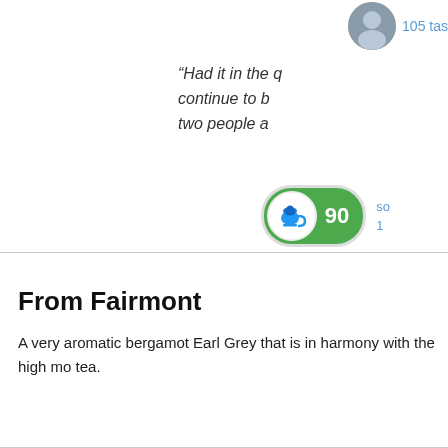105 tas
“Had it in the q... continue to b... two people a...
[Figure (infographic): Score badge showing 90 in white text on green pill-shaped background with blue teacup icon]
so... 1...
From Fairmont
A very aromatic bergamot Earl Grey that is in harmony with the high mo... tea.